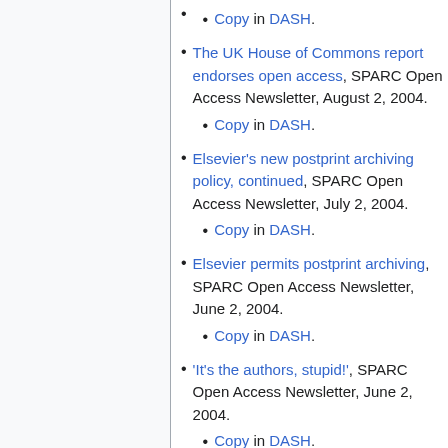Copy in DASH.
The UK House of Commons report endorses open access, SPARC Open Access Newsletter, August 2, 2004.
Copy in DASH.
Elsevier's new postprint archiving policy, continued, SPARC Open Access Newsletter, July 2, 2004.
Copy in DASH.
Elsevier permits postprint archiving, SPARC Open Access Newsletter, June 2, 2004.
Copy in DASH.
'It's the authors, stupid!', SPARC Open Access Newsletter, June 2, 2004.
Copy in DASH.